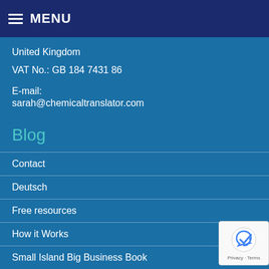MENU
United Kingdom
VAT No.: GB 184 7431 86
E-mail:
sarah@chemicaltranslator.com
Blog
Latest Blog Post
Contact
Deutsch
Free resources
How it Works
Small Island Big Business Book